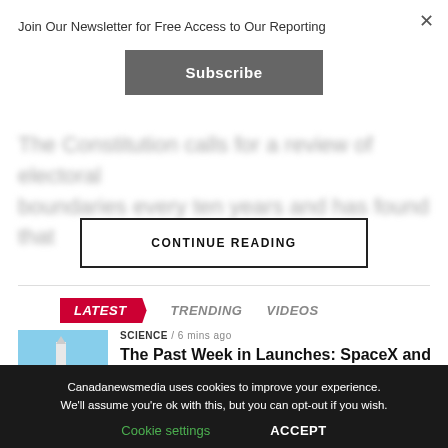Join Our Newsletter for Free Access to Our Reporting
Subscribe
The Constitution calls for a review of electoral boundaries every ten years and has found that
CONTINUE READING
LATEST   TRENDING   VIDEOS
[Figure (photo): Rocket launch photo showing a rocket with smoke trails against a blue sky]
SCIENCE / 6 mins ago
The Past Week in Launches: SpaceX and CASC Orbit Satellites – Parabolic Arc – Parabolic Arc
Canadanewsmedia uses cookies to improve your experience. We'll assume you're ok with this, but you can opt-out if you wish.
Cookie settings   ACCEPT